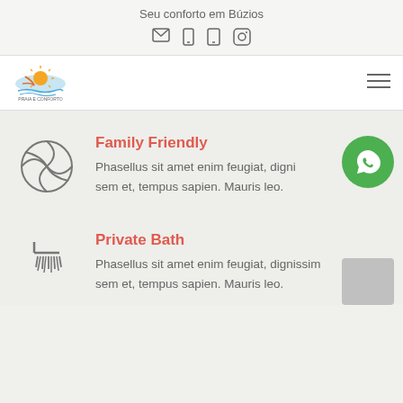Seu conforto em Búzios
[Figure (illustration): Navigation icons: envelope, mobile phone, tablet, Instagram]
[Figure (logo): Praia e Conforto Búzios logo with sun and waves]
[Figure (illustration): Hamburger menu icon (three horizontal lines)]
[Figure (illustration): Beach ball icon (circle with segments)]
Family Friendly
Phasellus sit amet enim feugiat, dignissim sem et, tempus sapien. Mauris leo.
[Figure (illustration): WhatsApp green circle button with chat icon]
[Figure (illustration): Shower icon (horizontal bar with spray lines)]
Private Bath
Phasellus sit amet enim feugiat, dignissim sem et, tempus sapien. Mauris leo.
[Figure (illustration): Grey scroll-to-top square button]